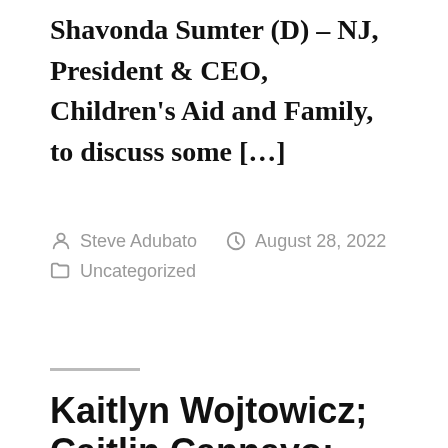Shavonda Sumter (D) – NJ, President & CEO, Children's Aid and Family, to discuss some […]
By Steve Adubato  August 28, 2022  Uncategorized
Kaitlyn Wojtowicz; Caitlin Cannavo; Cal…